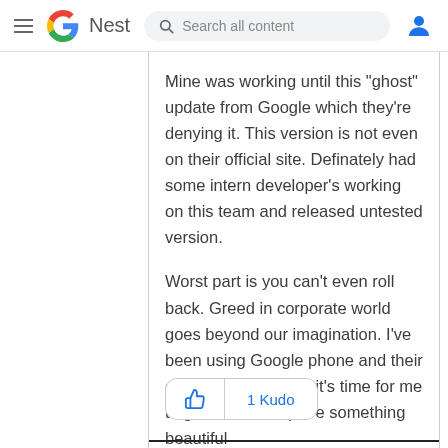Google Nest — Search all content
Mine was working until this "ghost" update from Google which they're denying it. This version is not even on their official site. Definately had some intern developer's working on this team and released untested version.
Worst part is you can't even roll back. Greed in corporate world goes beyond our imagination. I've been using Google phone and their eco system. I guess it's time for me to get out and explore something beautiful
1 Kudo